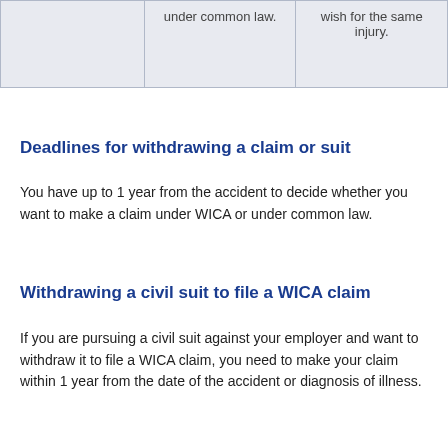|  | under common law. | wish for the same injury. |
| --- | --- | --- |
|  | under common law. | wish for the same injury. |
Deadlines for withdrawing a claim or suit
You have up to 1 year from the accident to decide whether you want to make a claim under WICA or under common law.
Withdrawing a civil suit to file a WICA claim
If you are pursuing a civil suit against your employer and want to withdraw it to file a WICA claim, you need to make your claim within 1 year from the date of the accident or diagnosis of illness.